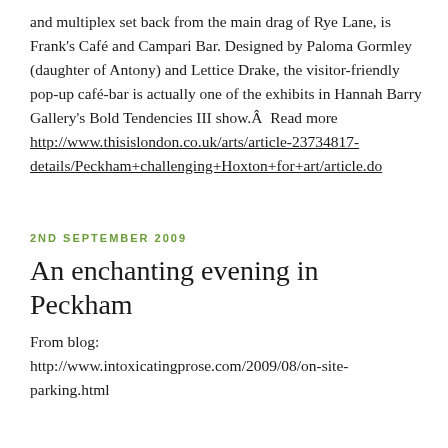and multiplex set back from the main drag of Rye Lane, is Frank's Café and Campari Bar. Designed by Paloma Gormley (daughter of Antony) and Lettice Drake, the visitor-friendly pop-up café-bar is actually one of the exhibits in Hannah Barry Gallery's Bold Tendencies III show.Â  Read more http://www.thisislondon.co.uk/arts/article-23734817-details/Peckham+challenging+Hoxton+for+art/article.do
2ND SEPTEMBER 2009
An enchanting evening in Peckham
From blog: http://www.intoxicatingprose.com/2009/08/on-site-parking.html